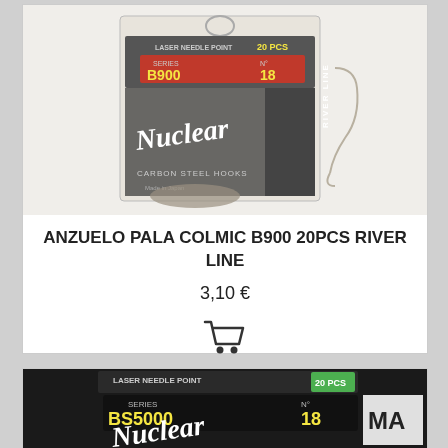[Figure (photo): Product photo of Colmic B900 fishing hooks package - Nuclear Carbon Steel Hooks, Laser Needle Point, 20 PCS, Series B900, N°18, River Line, Made in Japan]
ANZUELO PALA COLMIC B900 20PCS RIVER LINE
3,10 €
[Figure (photo): Product photo of Colmic BS5000 fishing hooks package - Nuclear, Laser Needle Point, 20 PCS, Series BS5000, N°18, partially visible]